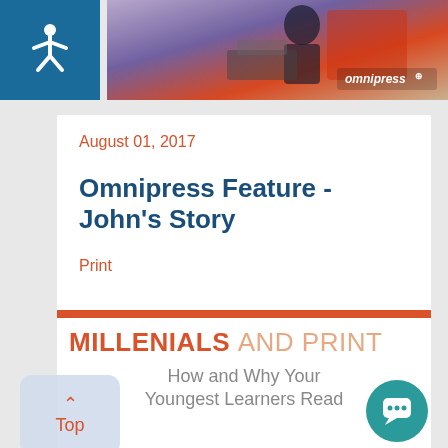[Figure (photo): Banner photo showing a person at a printing press or similar equipment, with Omnipress logo watermark in bottom right corner]
[Figure (logo): Accessibility wheelchair icon in white on teal/dark blue background square]
August 01, 2017
Omnipress Feature - John's Story
Print
[Figure (infographic): Infographic with orange top bar, bold title MILLENIALS AND PRINT, subtitle How and Why Your Youngest Learners Read]
How and Why Your Youngest Learners Read